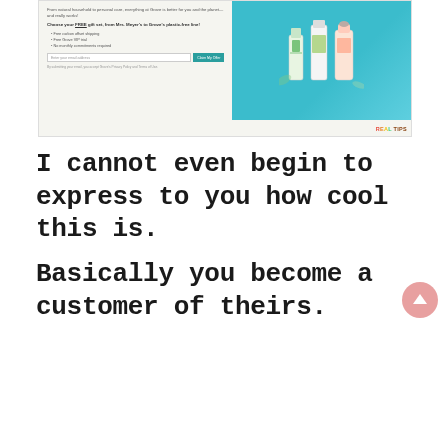[Figure (screenshot): Screenshot of Grove Collaborative website showing a free gift set offer with Mrs. Meyer's or Grove plastic-free line products, featuring an email signup form with a teal 'Claim My Offer' button, bullet points listing free carbon offset shipping, free Grove VIP trial, no monthly commitments, and product bottles on a blue background. A colorful logo 'REAL TIPS' appears at the bottom right.]
I cannot even begin to express to you how cool this is.
Basically you become a customer of theirs.